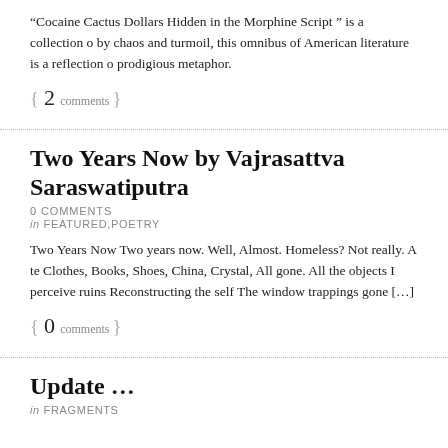“Cocaine Cactus Dollars Hidden in the Morphine Script ” is a collection o by chaos and turmoil, this omnibus of American literature is a reflection o prodigious metaphor.
{ 2 comments }
Two Years Now by Vajrasattva Saraswatiputra
0 COMMENTS
in FEATURED,POETRY
Two Years Now Two years now. Well, Almost. Homeless? Not really. A te Clothes, Books, Shoes, China, Crystal, All gone. All the objects I perceive ruins Reconstructing the self The window trappings gone […]
{ 0 comments }
Update …
in FRAGMENTS